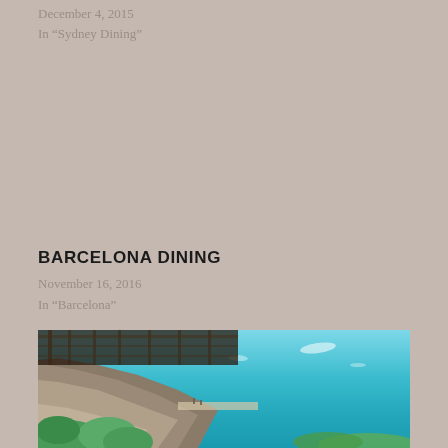December 4, 2015
In “Sydney Dining”
BARCELONA DINING
November 16, 2016
In “Barcelona”
[Figure (photo): Coastal cliffside restaurant or terrace overlooking a bright turquoise sea, with stone walls, wooden pergola structure, and lush green vegetation below]